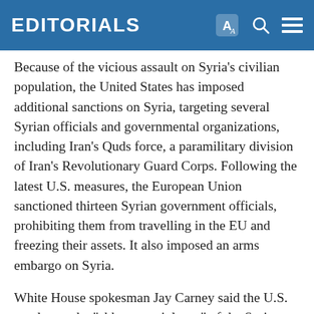EDITORIALS
Because of the vicious assault on Syria's civilian population, the United States has imposed additional sanctions on Syria, targeting several Syrian officials and governmental organizations, including Iran's Quds force, a paramilitary division of Iran's Revolutionary Guard Corps. Following the latest U.S. measures, the European Union sanctioned thirteen Syrian government officials, prohibiting them from travelling in the EU and freezing their assets. It also imposed an arms embargo on Syria.
White House spokesman Jay Carney said the U.S. condemns the "abhorrent violence" of the Syrian government against peaceful protestors and has "made it abundantly clear that the Syrian government's security crackdown will not restore stability and will